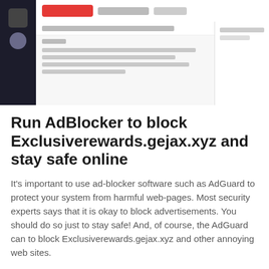[Figure (screenshot): Screenshot of a web browser interface showing a dark sidebar on the left with icons, a top navigation bar with a red button, and content area with blurred/placeholder text lines. A right panel is partially visible.]
Run AdBlocker to block Exclusiverewards.gejax.xyz and stay safe online
It's important to use ad-blocker software such as AdGuard to protect your system from harmful web-pages. Most security experts says that it is okay to block advertisements. You should do so just to stay safe! And, of course, the AdGuard can to block Exclusiverewards.gejax.xyz and other annoying web sites.
Installing the AdGuard ad-blocking program is simple. First you will need to download AdGuard by clicking on the following link.